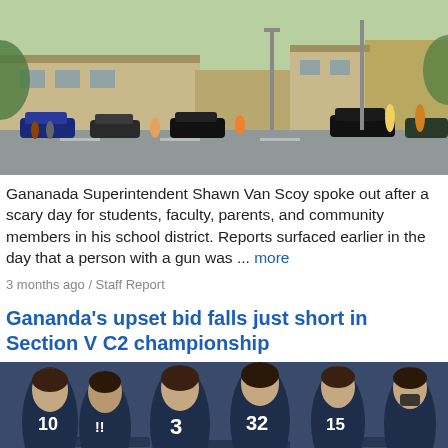[Figure (photo): Outdoor photo showing a school building with cars and people gathered in a parking lot area, on a summer day.]
Gananada Superintendent Shawn Van Scoy spoke out after a scary day for students, faculty, parents, and community members in his school district. Reports surfaced earlier in the day that a person with a gun was ... more
3 months ago / Staff Report
Gananda's upset bid falls just short in Section V C2 championship
[Figure (photo): Photo of female basketball players in dark navy uniforms huddled together, wearing numbers 10, 3, 32, 15 and others, one player wearing a mask.]